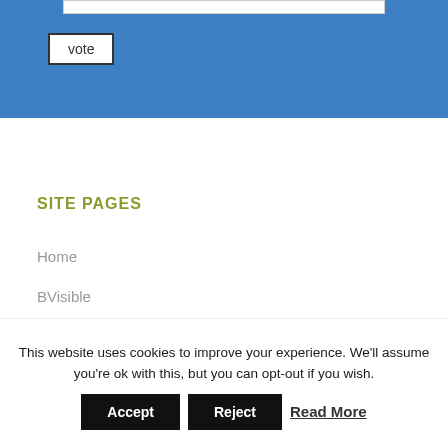[Figure (screenshot): Blue section at top of webpage with a vote button and white input bar]
SITE PAGES
Home
BVisible
Bootcamp
Trade Show Products
This website uses cookies to improve your experience. We'll assume you're ok with this, but you can opt-out if you wish.
Accept  Reject  Read More